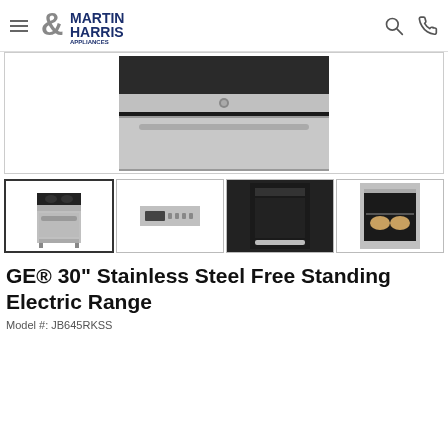Martin & Harris Appliances logo with navigation icons
[Figure (photo): Close-up image of a GE stainless steel free standing electric range, showing the oven door and control panel area]
[Figure (photo): Thumbnail 1: Full view of GE stainless steel free standing electric range]
[Figure (photo): Thumbnail 2: Close-up of GE range control panel in stainless steel]
[Figure (photo): Thumbnail 3: GE range oven interior view from above]
[Figure (photo): Thumbnail 4: GE range oven interior with baking dishes]
GE® 30" Stainless Steel Free Standing Electric Range
Model #: JB645RKSS